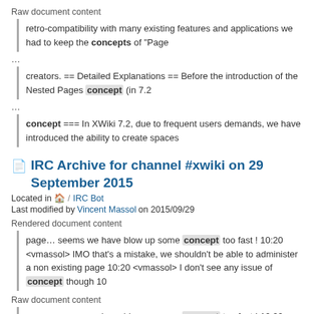Raw document content
retro-compatibility with many existing features and applications we had to keep the concepts of "Page
…
creators. == Detailed Explanations == Before the introduction of the Nested Pages concept (in 7.2
…
concept === In XWiki 7.2, due to frequent users demands, we have introduced the ability to create spaces
IRC Archive for channel #xwiki on 29 September 2015
Located in 🏠 / IRC Bot
Last modified by Vincent Massol on 2015/09/29
Rendered document content
page… seems we have blow up some concept too fast ! 10:20 <vmassol> IMO that's a mistake, we shouldn't be able to administer a non existing page 10:20 <vmassol> I don't see any issue of concept though 10
Raw document content
page… seems we have blow up some concept too fast ! 10:20 <vmassol> IMO that's a mistake, we shouldn't be able to administer a non existing page 10:20 <vmassol> I don't see any